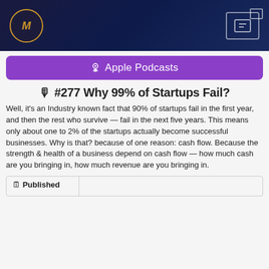[Figure (photo): Dark navy banner with gold circular logo on left and white outlined icon box on right]
Apple Podcasts
🎙 #277 Why 99% of Startups Fail?
Well, it's an Industry known fact that 90% of startups fail in the first year, and then the rest who survive — fail in the next five years. This means only about one to 2% of the startups actually become successful businesses. Why is that? because of one reason: cash flow. Because the strength & health of a business depend on cash flow — how much cash are you bringing in, how much revenue are you bringing in.
| Published |  |
| --- | --- |